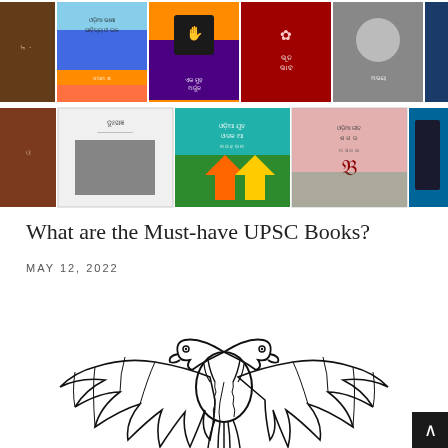[Figure (photo): Collage of book covers with Odia script text arranged in two rows, showing various colored books including books with orange/blue gradient, dark covers with hand symbol, red cover, portrait photo cover, and other book covers with Odia language titles]
What are the Must-have UPSC Books?
MAY 12, 2022
[Figure (illustration): Black and white line drawing of a double-headed eagle (similar to Indian national emblem style), with both heads facing outward, detailed feather work on wings spread wide]